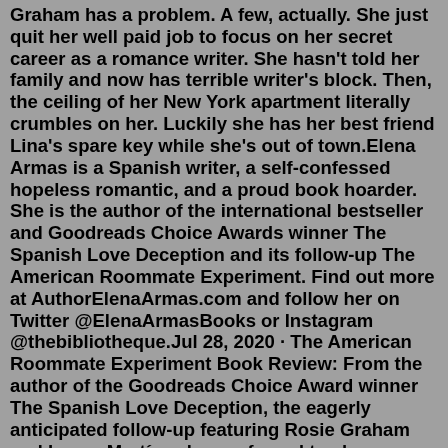Graham has a problem. A few, actually. She just quit her well paid job to focus on her secret career as a romance writer. She hasn't told her family and now has terrible writer's block. Then, the ceiling of her New York apartment literally crumbles on her. Luckily she has her best friend Lina's spare key while she's out of town.Elena Armas is a Spanish writer, a self-confessed hopeless romantic, and a proud book hoarder. She is the author of the international bestseller and Goodreads Choice Awards winner The Spanish Love Deception and its follow-up The American Roommate Experiment. Find out more at AuthorElenaArmas.com and follow her on Twitter @ElenaArmasBooks or Instagram @thebibliotheque.Jul 28, 2020 · The American Roommate Experiment Book Review: From the author of the Goodreads Choice Award winner The Spanish Love Deception, the eagerly anticipated follow-up featuring Rosie Graham and Lucas Martín, who are forced to share a New York apartment. Telepsychotherapy: The New Normal. Passing the 1...